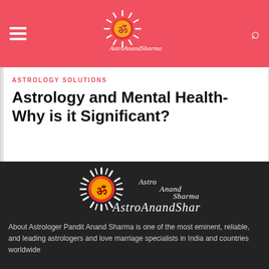[Figure (logo): AstroAnandSharma logo: sun with Om symbol and stylized text on red header background]
ASTROLOGY SOLUTIONS
Astrology and Mental Health-Why is it Significant?
[Figure (logo): AstroAnandSharma logo: sun with Om symbol in white/orange on dark background with stylized script text]
About Astrologer Pandit Anand Sharma is one of the most eminent, reliable, and leading astrologers and love marriage specialists in India and countries worldwide